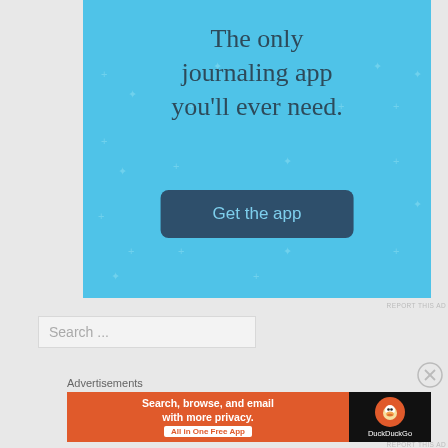[Figure (infographic): Blue advertisement banner for a journaling app with sparkle decorations, headline text 'The only journaling app you'll ever need.' and a dark blue 'Get the app' button]
REPORT THIS AD
Search ...
Advertisements
[Figure (infographic): DuckDuckGo advertisement banner with orange left panel saying 'Search, browse, and email with more privacy. All in One Free App' and dark right panel with DuckDuckGo duck logo and name]